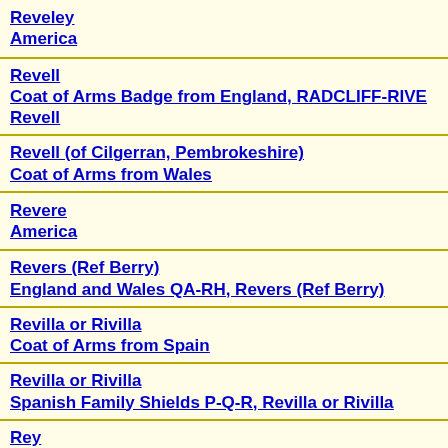Reveley America
Revell Coat of Arms Badge from England, RADCLIFF-RIVE Revell
Revell (of Cilgerran, Pembrokeshire) Coat of Arms from Wales
Revere America
Revers (Ref Berry) England and Wales QA-RH, Revers (Ref Berry)
Revilla or Rivilla Coat of Arms from Spain
Revilla or Rivilla Spanish Family Shields P-Q-R, Revilla or Rivilla
Rey French Coat of Arms, QUENTIN-ROYER, Rey
Rey